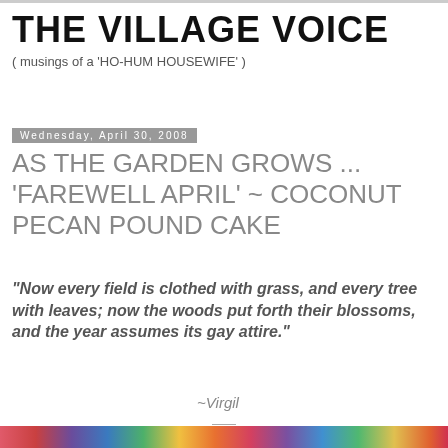THE VILLAGE VOICE
( musings of a 'HO-HUM HOUSEWIFE' )
Wednesday, April 30, 2008
AS THE GARDEN GROWS ... 'FAREWELL APRIL' ~ COCONUT PECAN POUND CAKE
"Now every field is clothed with grass, and every tree with leaves; now the woods put forth their blossoms, and the year assumes its gay attire."
~Virgil
[Figure (photo): Colorful flower garden image strip at bottom of page]